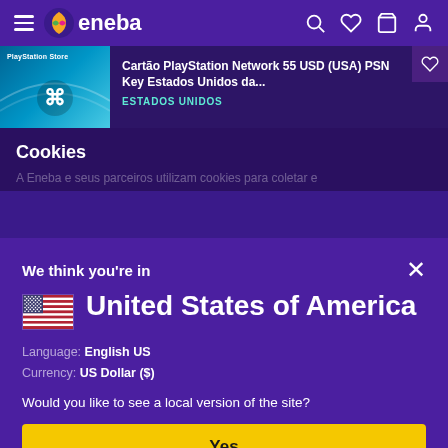eneba
[Figure (screenshot): PlayStation Store product card showing 'Cartão PlayStation Network 55 USD (USA) PSN Key Estados Unidos da...' with ESTADOS UNIDOS label in teal]
Cookies
A Eneba e seus parceiros utilizam cookies para coletar e...
We think you're in
United States of America
Language: English US
Currency: US Dollar ($)
Would you like to see a local version of the site?